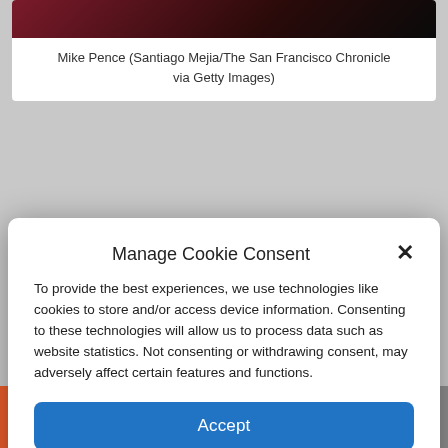[Figure (photo): Partial image of Mike Pence, dark-toned photograph cropped at top]
Mike Pence (Santiago Mejia/The San Francisco Chronicle via Getty Images)
Manage Cookie Consent
To provide the best experiences, we use technologies like cookies to store and/or access device information. Consenting to these technologies will allow us to process data such as website statistics. Not consenting or withdrawing consent, may adversely affect certain features and functions.
Accept
Cookie Policy   Privacy Policy
After refusing his president's demand to